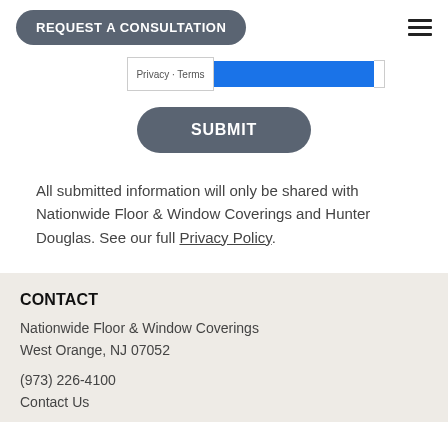REQUEST A CONSULTATION
[Figure (screenshot): reCAPTCHA widget row with 'Privacy · Terms' label and blue bar]
[Figure (screenshot): SUBMIT button rounded dark gray]
All submitted information will only be shared with Nationwide Floor & Window Coverings and Hunter Douglas. See our full Privacy Policy.
CONTACT
Nationwide Floor & Window Coverings
West Orange, NJ 07052
(973) 226-4100
Contact Us